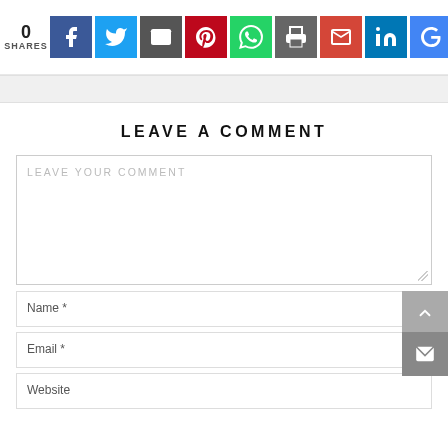[Figure (infographic): Social share bar with count '0 SHARES' and icons for Facebook, Twitter, Email, Pinterest, WhatsApp, Print, Gmail, LinkedIn, Google+]
LEAVE A COMMENT
[Figure (screenshot): Comment form with textarea 'LEAVE YOUR COMMENT', fields for Name*, Email*, Website, and floating up-arrow and mail buttons on the right]